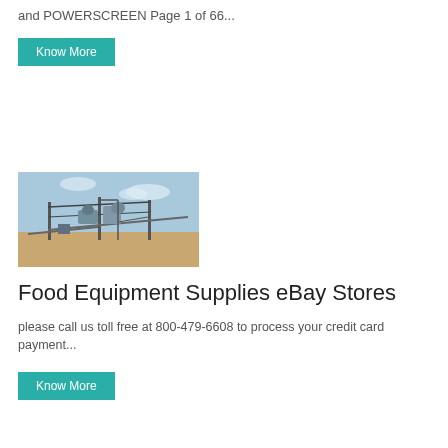and POWERSCREEN Page 1 of 66...
Know More
[Figure (photo): Industrial machinery/equipment at an outdoor site, showing large metal structures, conveyor belts and processing equipment against a light blue sky with sandy ground.]
Food Equipment Supplies eBay Stores
please call us toll free at 800-479-6608 to process your credit card payment...
Know More